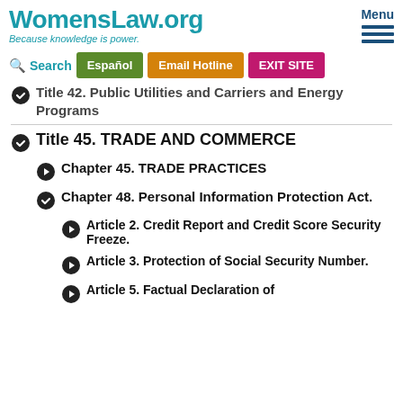WomensLaw.org — Because knowledge is power.
Title 42. Public Utilities and Carriers and Energy Programs
Title 45. TRADE AND COMMERCE
Chapter 45. TRADE PRACTICES
Chapter 48. Personal Information Protection Act.
Article 2. Credit Report and Credit Score Security Freeze.
Article 3. Protection of Social Security Number.
Article 5. Factual Declaration of